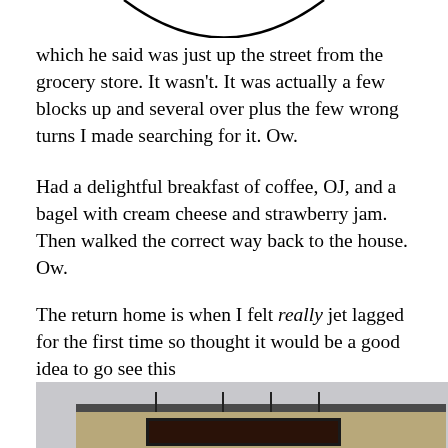[Figure (illustration): Partial view of a circular image or logo, showing the bottom arc of the circle against a white background, cropped at the top of the page.]
which he said was just up the street from the grocery store. It wasn’t. It was actually a few blocks up and several over plus the few wrong turns I made searching for it. Ow.
Had a delightful breakfast of coffee, OJ, and a bagel with cream cheese and strawberry jam. Then walked the correct way back to the house. Ow.
The return home is when I felt really jet lagged for the first time so thought it would be a good idea to go see this
[Figure (photo): A photograph showing the exterior of a building with a tan/beige colored facade. Visible elements include a dark roofline with vertical metal rods or poles along the top edge, and a large dark sign or display board on the front of the building. The sky is overcast gray.]